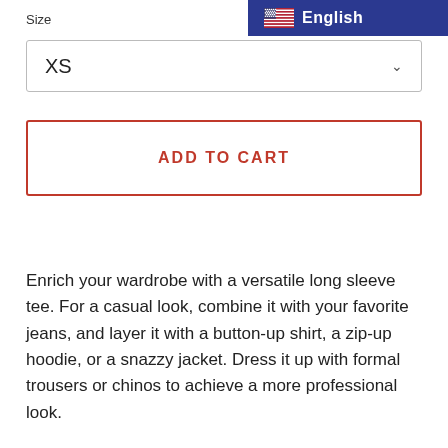Size
[Figure (screenshot): English language selector button with US flag icon on dark blue background]
XS
ADD TO CART
Enrich your wardrobe with a versatile long sleeve tee. For a casual look, combine it with your favorite jeans, and layer it with a button-up shirt, a zip-up hoodie, or a snazzy jacket. Dress it up with formal trousers or chinos to achieve a more professional look.